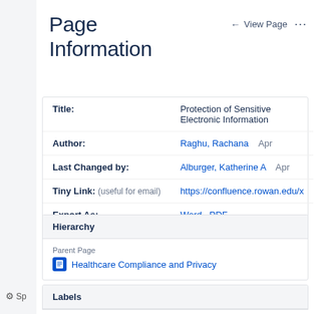Page Information
← View Page  ···
| Field | Value |
| --- | --- |
| Title: | Protection of Sensitive Electronic Information |
| Author: | Raghu, Rachana   Apr |
| Last Changed by: | Alburger, Katherine A   Apr |
| Tiny Link: (useful for email) | https://confluence.rowan.edu/x… |
| Export As: | Word · PDF |
Hierarchy
Parent Page
Healthcare Compliance and Privacy
Labels